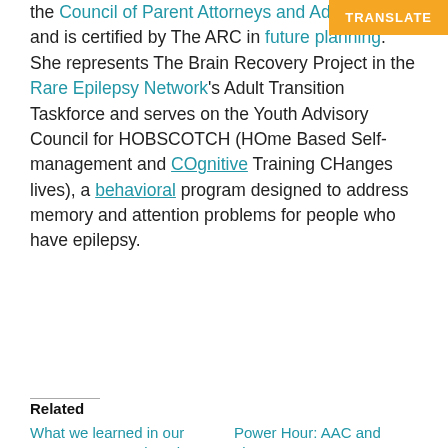the Council of Parent Attorneys and Advocates and is certified by The ARC in future planning. She represents The Brain Recovery Project in the Rare Epilepsy Network's Adult Transition Taskforce and serves on the Youth Advisory Council for HOBSCOTCH (HOme Based Self-management and COgnitive Training CHanges lives), a behavioral program designed to address memory and attention problems for people who have epilepsy.
Related
What we learned in our Power Hour session about vision after epilepsy surgery
Power Hour: AAC and Literacy
April 18, 2022